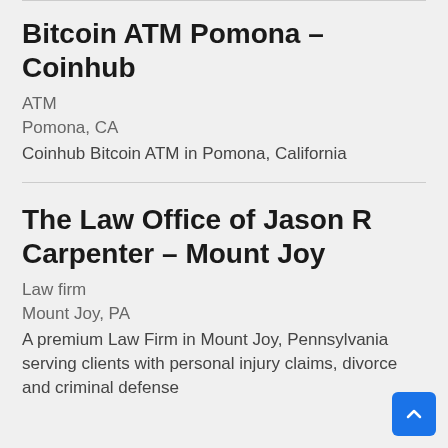Bitcoin ATM Pomona – Coinhub
ATM
Pomona, CA
Coinhub Bitcoin ATM in Pomona, California
The Law Office of Jason R Carpenter – Mount Joy
Law firm
Mount Joy, PA
A premium Law Firm in Mount Joy, Pennsylvania serving clients with personal injury claims, divorce and criminal defense